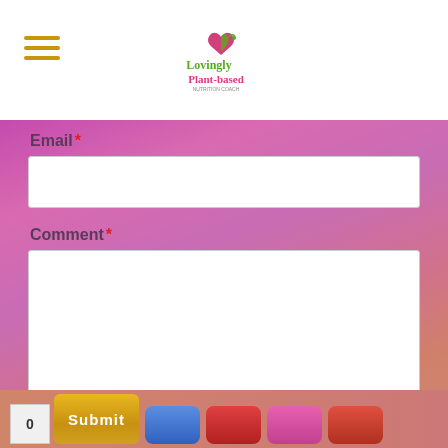[Figure (logo): Lovingly Plant-based logo with heart and plant icon, green and pink text]
Email *
Comment *
Submit
0